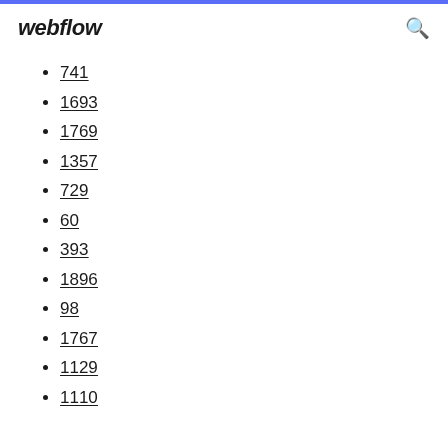webflow
741
1693
1769
1357
729
60
393
1896
98
1767
1129
1110